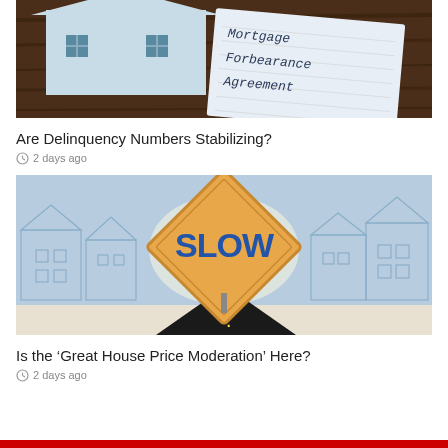[Figure (photo): Photo of a light blue paper house cutout and a notepad with 'Mortgage Forbearance Agreement' written on it, on a dark wooden surface]
Are Delinquency Numbers Stabilizing?
2 days ago
[Figure (illustration): Illustration of a 'SLOW' road sign (diamond-shaped, orange/yellow) on a road with illustrated houses in the background on a light blue sky]
Is the ‘Great House Price Moderation’ Here?
2 days ago